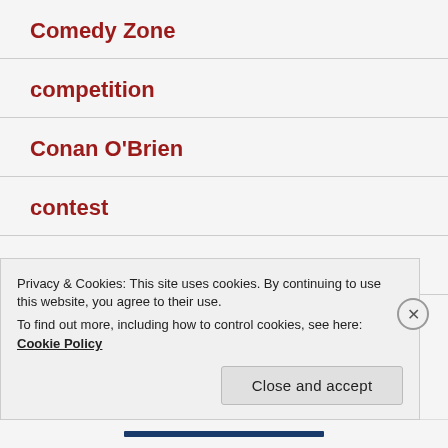Comedy Zone
competition
Conan O'Brien
contest
Corey Haim
costumes
Privacy & Cookies: This site uses cookies. By continuing to use this website, you agree to their use.
To find out more, including how to control cookies, see here: Cookie Policy
Close and accept